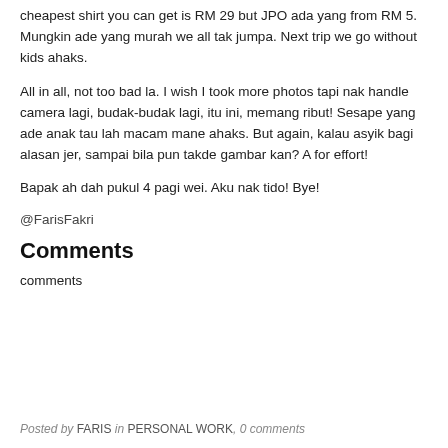cheapest shirt you can get is RM 29 but JPO ada yang from RM 5. Mungkin ade yang murah we all tak jumpa. Next trip we go without kids ahaks.
All in all, not too bad la. I wish I took more photos tapi nak handle camera lagi, budak-budak lagi, itu ini, memang ribut! Sesape yang ade anak tau lah macam mane ahaks. But again, kalau asyik bagi alasan jer, sampai bila pun takde gambar kan? A for effort!
Bapak ah dah pukul 4 pagi wei. Aku nak tido! Bye!
@FarisFakri
Comments
comments
Posted by FARIS in PERSONAL WORK, 0 comments